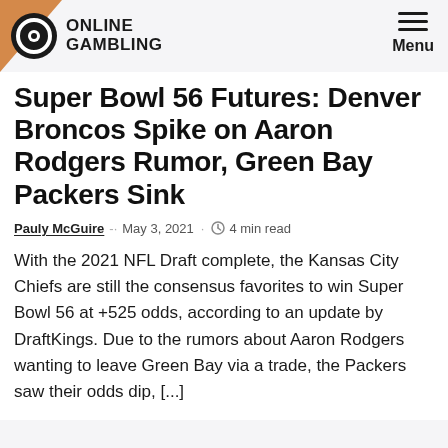Online Gambling — Menu
Super Bowl 56 Futures: Denver Broncos Spike on Aaron Rodgers Rumor, Green Bay Packers Sink
Pauly McGuire · May 3, 2021 · 4 min read
With the 2021 NFL Draft complete, the Kansas City Chiefs are still the consensus favorites to win Super Bowl 56 at +525 odds, according to an update by DraftKings. Due to the rumors about Aaron Rodgers wanting to leave Green Bay via a trade, the Packers saw their odds dip, [...]